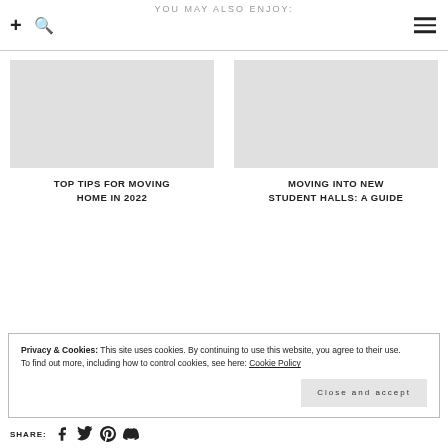YOU MAY ALSO ENJOY:
TOP TIPS FOR MOVING HOME IN 2022
MOVING INTO NEW STUDENT HALLS: A GUIDE
Privacy & Cookies: This site uses cookies. By continuing to use this website, you agree to their use.
To find out more, including how to control cookies, see here: Cookie Policy
Close and accept
SHARE: